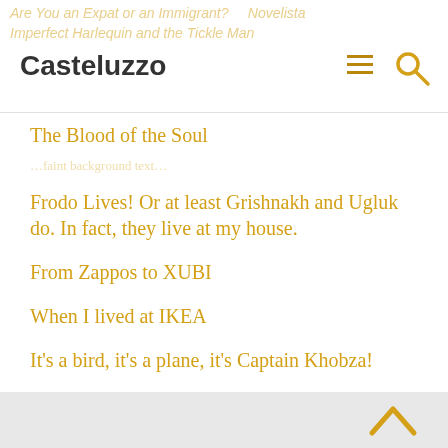Casteluzzo
The Blood of the Soul
Frodo Lives! Or at least Grishnakh and Ugluk do. In fact, they live at my house.
From Zappos to XUBI
When I lived at IKEA
It's a bird, it's a plane, it's Captain Khobza!
Pasta Confessions
Philippines, Part 7: Revenge of the Cockroaches (Manila)
The Lives We Never Live